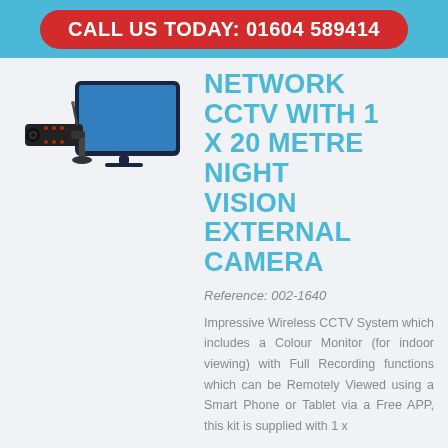CALL US TODAY: 01604 589414
[Figure (photo): Product photo showing a wireless CCTV camera and a tablet/monitor display]
NETWORK CCTV WITH 1 X 20 METRE NIGHT VISION EXTERNAL CAMERA
Reference: 002-1640
Impressive Wireless CCTV System which includes a Colour Monitor (for indoor viewing) with Full Recording functions which can be Remotely Viewed using a Smart Phone or Tablet via a Free APP, this kit is supplied with 1 x